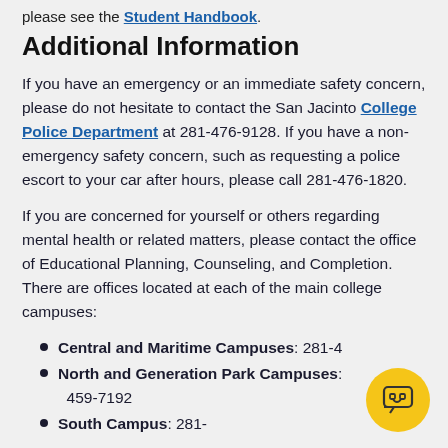please see the Student Handbook.
Additional Information
If you have an emergency or an immediate safety concern, please do not hesitate to contact the San Jacinto College Police Department at 281-476-9128. If you have a non-emergency safety concern, such as requesting a police escort to your car after hours, please call 281-476-1820.
If you are concerned for yourself or others regarding mental health or related matters, please contact the office of Educational Planning, Counseling, and Completion. There are offices located at each of the main college campuses:
Central and Maritime Campuses: 281-4[obscured]
North and Generation Park Campuses: [obscured] 459-7192
South Campus: 281-[obscured]